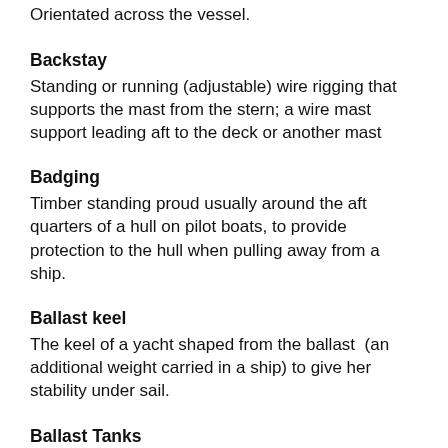Orientated across the vessel.
Backstay
Standing or running (adjustable) wire rigging that supports the mast from the stern; a wire mast support leading aft to the deck or another mast
Badging
Timber standing proud usually around the aft quarters of a hull on pilot boats, to provide protection to the hull when pulling away from a ship.
Ballast keel
The keel of a yacht shaped from the ballast  (an additional weight carried in a ship) to give her stability under sail.
Ballast Tanks
Tanks carried in various parts of a ship for water ballast, for stability and to make the ship seaworthy.